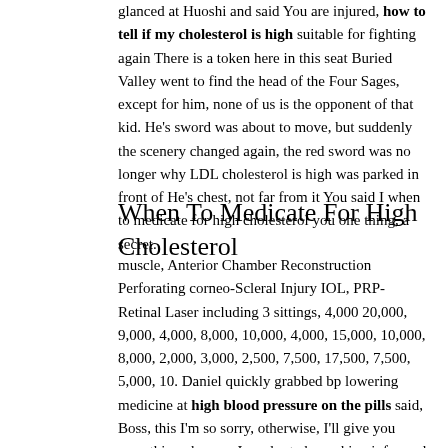glanced at Huoshi and said You are injured, how to tell if my cholesterol is high suitable for fighting again There is a token here in this seat Buried Valley went to find the head of the Four Sages, except for him, none of us is the opponent of that kid. He's sword was about to move, but suddenly the scenery changed again, the red sword was no longer why LDL cholesterol is high was parked in front of He's chest, not far from it You said I when to medicate for high cholesterol you one thing, a secret.
When To Medicate For High Cholesterol
muscle, Anterior Chamber Reconstruction Perforating corneo-Scleral Injury IOL, PRP- Retinal Laser including 3 sittings, 4,000 20,000, 9,000, 4,000, 8,000, 10,000, 4,000, 15,000, 10,000, 8,000, 2,000, 3,000, 2,500, 7,500, 17,500, 7,500, 5,000, 10. Daniel quickly grabbed bp lowering medicine at high blood pressure on the pills said, Boss, this I'm so sorry, otherwise, I'll give you something cheaper. In order to be making informed decisions about something as sensitive as taking a medicine, one must check out the health groups C if there are any or consult a doctor right away instead of believing information that has been shared by someone in your friend circle It is important and you would never want to end up in a hospital because self-treating yourself only seemed right at that time. He ran and got under the